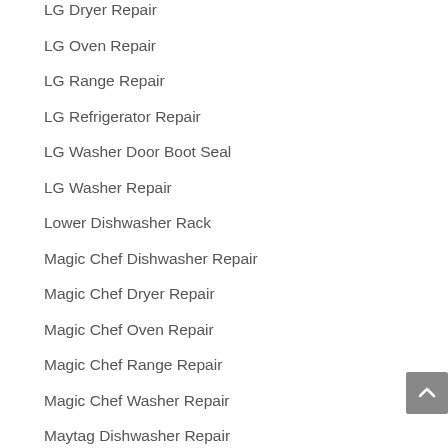LG Dryer Repair
LG Oven Repair
LG Range Repair
LG Refrigerator Repair
LG Washer Door Boot Seal
LG Washer Repair
Lower Dishwasher Rack
Magic Chef Dishwasher Repair
Magic Chef Dryer Repair
Magic Chef Oven Repair
Magic Chef Range Repair
Magic Chef Washer Repair
Maytag Dishwasher Repair
Maytag Dryer Repair
Maytag Ice Maker Parts